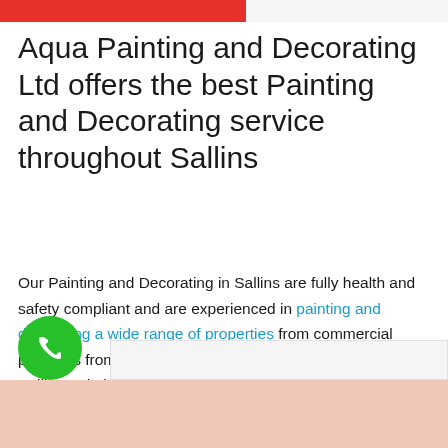[Figure (other): Red and light grey top banner strip]
Aqua Painting and Decorating Ltd offers the best Painting and Decorating service throughout Sallins
Our Painting and Decorating in Sallins are fully health and safety compliant and are experienced in painting and decorating a wide range of properties from commercial premises from hotels to new build housing estates. Our Sallins Painting and Decorating have done it all so choose Aqua Painting Contractors for the best possible finish!
[Figure (other): Green circular phone/call button icon at bottom left, with a light beige/skin-toned image section at the bottom]